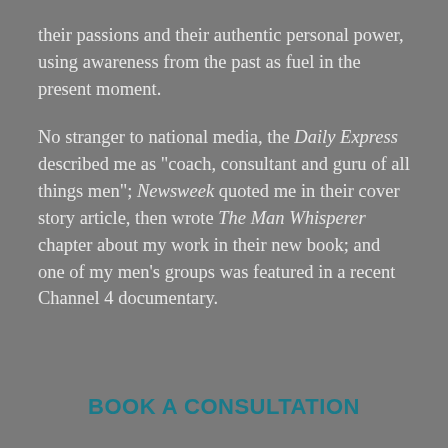their passions and their authentic personal power, using awareness from the past as fuel in the present moment.
No stranger to national media, the Daily Express described me as "coach, consultant and guru of all things men"; Newsweek quoted me in their cover story article, then wrote The Man Whisperer chapter about my work in their new book; and one of my men's groups was featured in a recent Channel 4 documentary.
BOOK A CONSULTATION